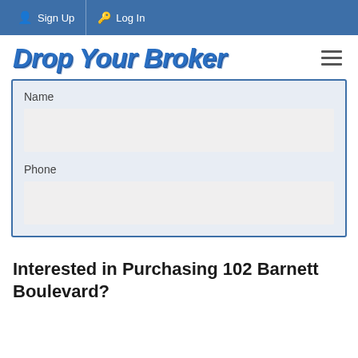Sign Up   Log In
Drop Your Broker
Name
Phone
Interested in Purchasing 102 Barnett Boulevard?